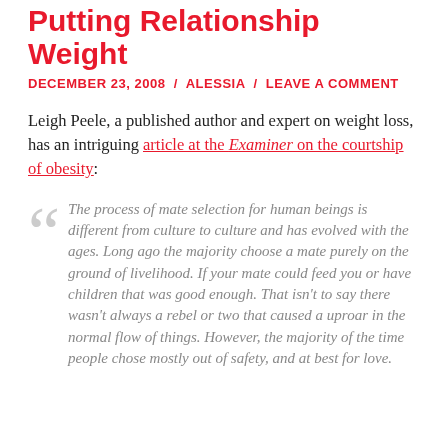Putting Relationship Weight
DECEMBER 23, 2008 / ALESSIA / LEAVE A COMMENT
Leigh Peele, a published author and expert on weight loss, has an intriguing article at the Examiner on the courtship of obesity:
The process of mate selection for human beings is different from culture to culture and has evolved with the ages. Long ago the majority choose a mate purely on the ground of livelihood. If your mate could feed you or have children that was good enough. That isn't to say there wasn't always a rebel or two that caused a uproar in the normal flow of things. However, the majority of the time people chose mostly out of safety, and at best for love.